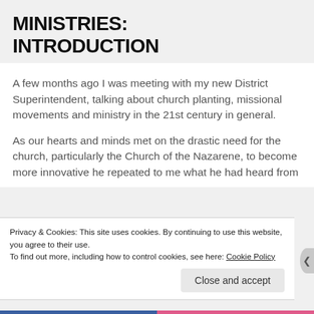MINISTRIES: INTRODUCTION
A few months ago I was meeting with my new District Superintendent, talking about church planting, missional movements and ministry in the 21st century in general.
As our hearts and minds met on the drastic need for the church, particularly the Church of the Nazarene, to become more innovative he repeated to me what he had heard from
Privacy & Cookies: This site uses cookies. By continuing to use this website, you agree to their use.
To find out more, including how to control cookies, see here: Cookie Policy
Close and accept